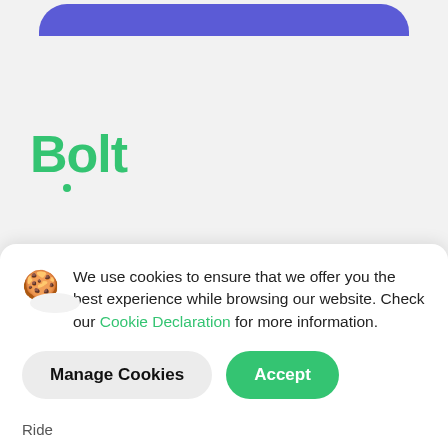[Figure (screenshot): Top blue rounded button/banner partially visible at top of page]
[Figure (logo): Bolt logo in green with dot accent]
[Figure (screenshot): Download on the App Store black button]
We use cookies to ensure that we offer you the best experience while browsing our website. Check our Cookie Declaration for more information.
Manage Cookies
Accept
Ride